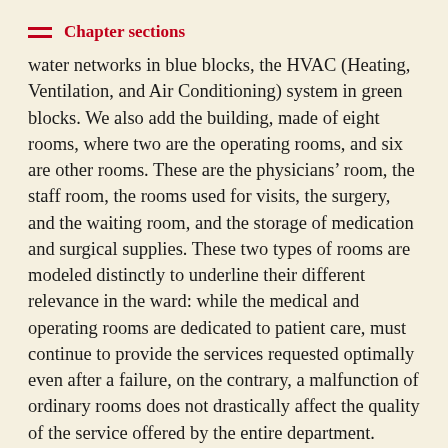Chapter sections
water networks in blue blocks, the HVAC (Heating, Ventilation, and Air Conditioning) system in green blocks. We also add the building, made of eight rooms, where two are the operating rooms, and six are other rooms. These are the physicians’ room, the staff room, the rooms used for visits, the surgery, and the waiting room, and the storage of medication and surgical supplies. These two types of rooms are modeled distinctly to underline their different relevance in the ward: while the medical and operating rooms are dedicated to patient care, must continue to provide the services requested optimally even after a failure, on the contrary, a malfunction of ordinary rooms does not drastically affect the quality of the service offered by the entire department.